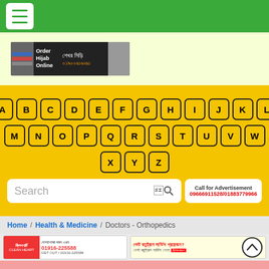[Figure (screenshot): Green navigation header bar with hamburger menu icon (white box with three green lines)]
[Figure (screenshot): Advertisement banner for hijab order with Bengali text and phone number on light yellow background]
[Figure (screenshot): Alphabet navigation keyboard on yellow background with letters A-Z arranged in rows]
[Figure (screenshot): Search input box with placeholder text 'Search' and search icon, plus 'Call for Advertisement' box showing numbers 09666911528/01883779966]
Home / Health & Medicine / Doctors - Orthopedics
[Figure (screenshot): Two advertisement banners at bottom: Clean Heart pest control ad on left, pest control service ad on right with scroll-up button]
[Figure (screenshot): Pink/coral colored partial banner at bottom of page]